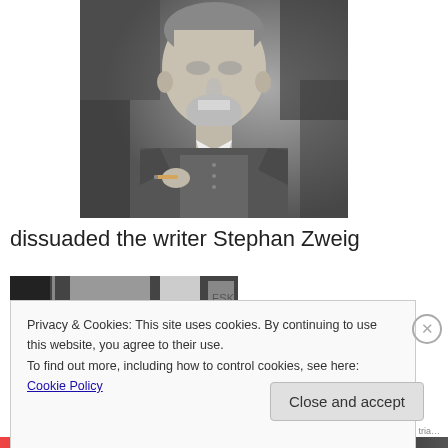[Figure (photo): Black and white portrait photograph of an elderly man in a suit holding a cigar, identified as Sigmund Freud]
dissuaded the writer Stephan Zweig
[Figure (photo): Partial view of a second photograph showing a group scene, partially obscured by cookie banner]
Privacy & Cookies: This site uses cookies. By continuing to use this website, you agree to their use.
To find out more, including how to control cookies, see here: Cookie Policy
Close and accept